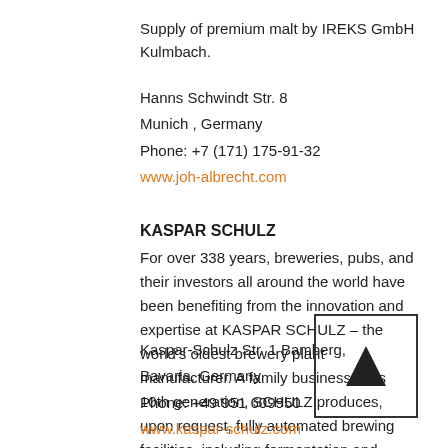Supply of premium malt by IREKS GmbH Kulmbach.
Hanns Schwindt Str. 8
Munich , Germany
Phone: +7 (171) 175-91-32
www.joh-albrecht.com
KASPAR SCHULZ
For over 338 years, breweries, pubs, and their investors all around the world have been benefiting from the innovation and expertise at KASPAR SCHULZ – the world's oldest brewery plant manufacturer. A family business in its 10th generation, SCHULZ produces, upon request, fully automated brewing facilities, including fermentation and maturation tanks. Worldwide delivery, plus a wide spectrum of services help make Schulz the unique company it is today.
[Figure (illustration): A small box with a black upward-pointing triangle (play/up button) inside, bordered by a thin black rectangle.]
Kaspar-Schulz Str. 1 Bamberg,
Bavaria, Germany
Phone: +49 951 609950
www.kaspar-schulz.com